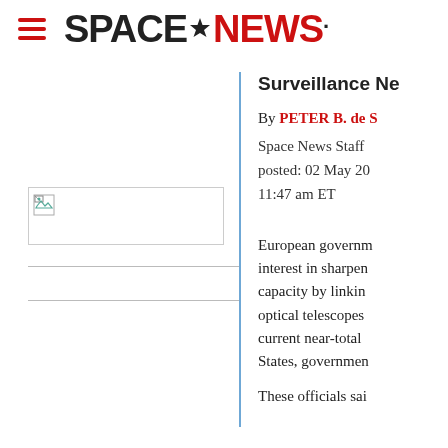SPACENEWS
Surveillance Ne
By PETER B. de S
Space News Staff
posted: 02 May 20
11:47 am ET
[Figure (photo): Image placeholder with broken image icon]
European governm interest in sharpen capacity by linkin optical telescopes current near-total States, governmen
These officials sai